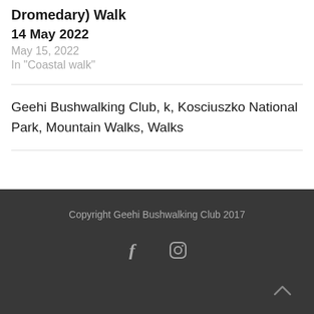Dromedary) Walk
14 May 2022
May 15, 2022
In "Coastal walk"
Geehi Bushwalking Club, k, Kosciuszko National Park, Mountain Walks, Walks
Copyright Geehi Bushwalking Club 2017